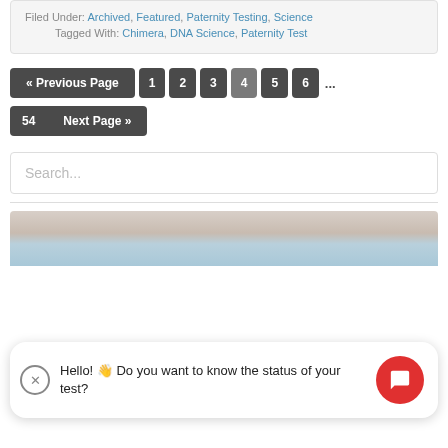Filed Under: Archived, Featured, Paternity Testing, Science
Tagged With: Chimera, DNA Science, Paternity Test
« Previous Page  1  2  3  4  5  6  ...  54  Next Page »
Search...
[Figure (photo): Close-up photo of a hand/fingers, partial view at bottom of page]
Hello! 👋 Do you want to know the status of your test?